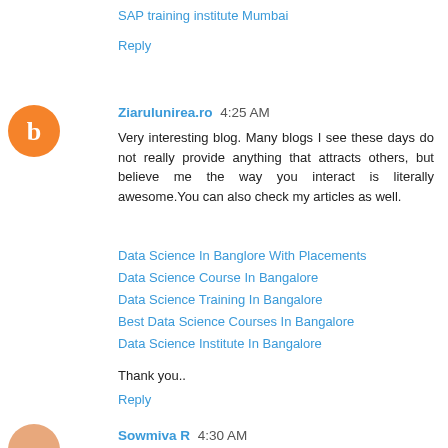SAP training institute Mumbai
Reply
Ziarulunirea.ro  4:25 AM
Very interesting blog. Many blogs I see these days do not really provide anything that attracts others, but believe me the way you interact is literally awesome.You can also check my articles as well.
Data Science In Banglore With Placements
Data Science Course In Bangalore
Data Science Training In Bangalore
Best Data Science Courses In Bangalore
Data Science Institute In Bangalore
Thank you..
Reply
Sowmiva R  4:30 AM